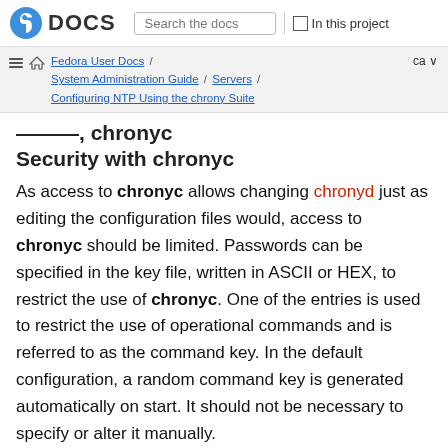DOCS — Search the docs — In this project
Fedora User Docs / System Administration Guide / Servers / Configuring NTP Using the chrony Suite — ca
Security with chronyc
As access to chronyc allows changing chronyd just as editing the configuration files would, access to chronyc should be limited. Passwords can be specified in the key file, written in ASCII or HEX, to restrict the use of chronyc. One of the entries is used to restrict the use of operational commands and is referred to as the command key. In the default configuration, a random command key is generated automatically on start. It should not be necessary to specify or alter it manually.
Other entries in the key file can be used as NTP